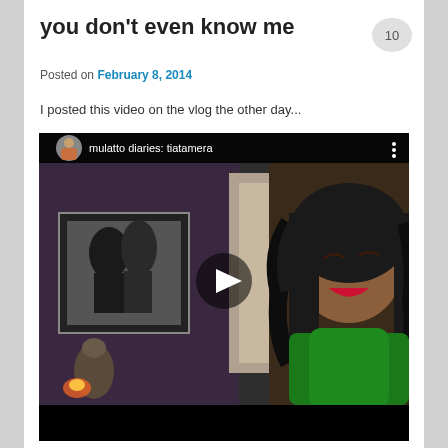you don't even know me
Posted on February 8, 2014
I posted this video on the vlog the other day...
[Figure (screenshot): Embedded YouTube video thumbnail showing a woman in a green top with long curly black hair, smiling with red lipstick, a play button overlay in the center. Video header reads 'mulatto diaries: tiatamera' with a circular profile photo on the left and a three-dot menu on the right. Background shows a room with framed artwork.]